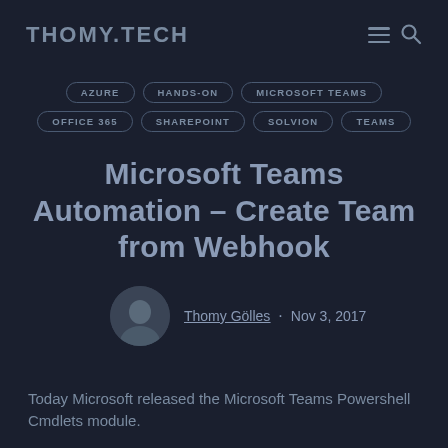THOMY.TECH
AZURE
HANDS-ON
MICROSOFT TEAMS
OFFICE 365
SHAREPOINT
SOLVION
TEAMS
Microsoft Teams Automation – Create Team from Webhook
Thomy Gölles · Nov 3, 2017
Today Microsoft released the Microsoft Teams Powershell Cmdlets module.